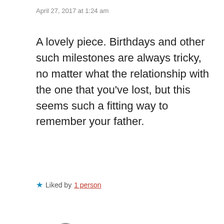April 27, 2017 at 1:24 am
A lovely piece. Birthdays and other such milestones are always tricky, no matter what the relationship with the one that you’ve lost, but this seems such a fitting way to remember your father.
★ Liked by 1 person
Reply
roughghosts
April 27, 2017 at 9:00 pm
Thanks. So many emotions, but being able to